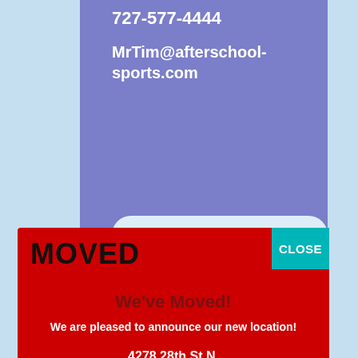727-577-4444
MrTim@afterschool-sports.com
MOVED
We've Moved!
We are pleased to announce our new location!
4278 28th St N.
St. Petersburg, FL 33714